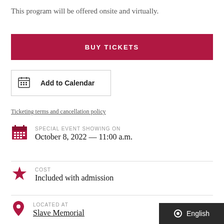This program will be offered onsite and virtually.
BUY TICKETS
Add to Calendar
Ticketing terms and cancellation policy
SPECIAL EVENT SHOWING ON
October 8, 2022 — 11:00 a.m.
COST
Included with admission
LOCATED AT
Slave Memorial
English